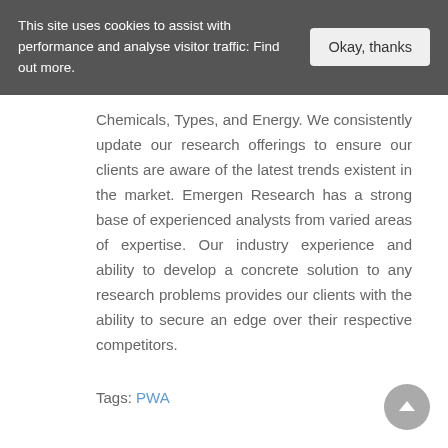This site uses cookies to assist with performance and analyse visitor traffic: Find out more.
Okay, thanks
Chemicals, Types, and Energy. We consistently update our research offerings to ensure our clients are aware of the latest trends existent in the market. Emergen Research has a strong base of experienced analysts from varied areas of expertise. Our industry experience and ability to develop a concrete solution to any research problems provides our clients with the ability to secure an edge over their respective competitors.
Tags: PWA